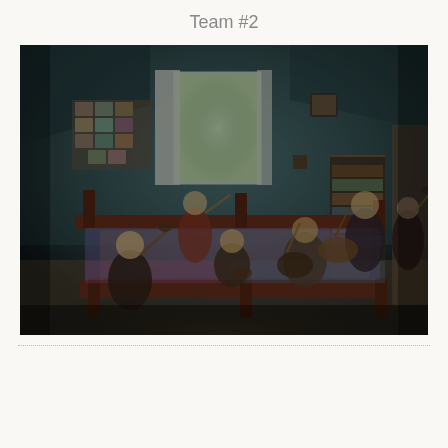Team #2
[Figure (photo): Group of people playing musical instruments (guitars, fiddles, banjo) in a bedroom with teal/blue walls, a window, bookshelves, and photos on the wall. People are seated on a bed and standing around the room.]